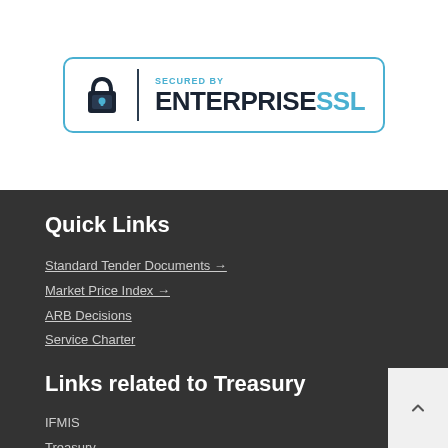[Figure (logo): Secured by EnterpriseSSL badge with lock icon, blue border, dark text ENTERPRISE and blue text SSL]
Quick Links
Standard Tender Documents →
Market Price Index →
ARB Decisions
Service Charter
Links related to Treasury
IFMIS
Treasury
Central Bank of Kenya
Public Financial Management Reforms